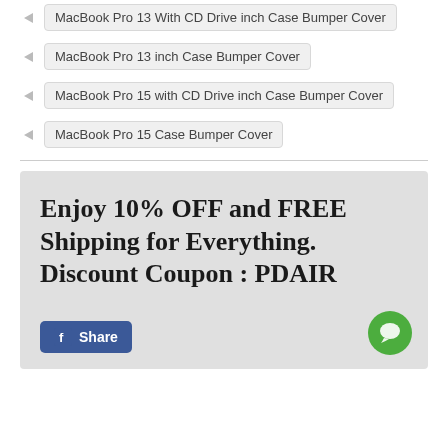MacBook Pro 13 With CD Drive inch Case Bumper Cover
MacBook Pro 13 inch Case Bumper Cover
MacBook Pro 15 with CD Drive inch Case Bumper Cover
MacBook Pro 15 Case Bumper Cover
Enjoy 10% OFF and FREE Shipping for Everything. Discount Coupon : PDAIR